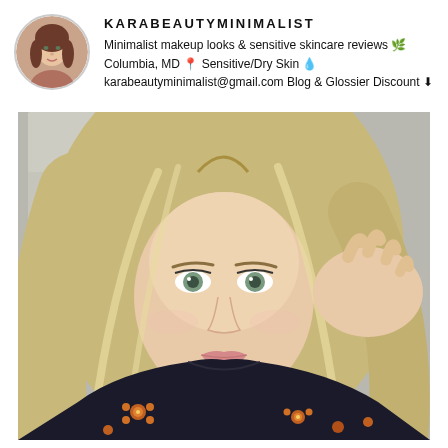[Figure (photo): Circular avatar photo of a woman with brown hair and pink background]
KARABEAUTYMINIMALIST
Minimalist makeup looks & sensitive skincare reviews 🌿
Columbia, MD 📍 Sensitive/Dry Skin 💧
karabeautyminimalist@gmail.com Blog & Glossier Discount ⬇
[Figure (photo): Selfie photo of a young woman with long blonde highlighted hair, green eyes, subtle pink lip, wearing a dark floral top, hand in hair, standing in front of a door]